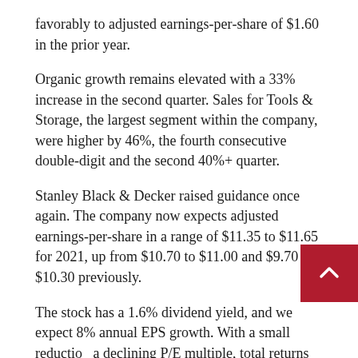favorably to adjusted earnings-per-share of $1.60 in the prior year.
Organic growth remains elevated with a 33% increase in the second quarter. Sales for Tools & Storage, the largest segment within the company, were higher by 46%, the fourth consecutive double-digit and the second 40%+ quarter.
Stanley Black & Decker raised guidance once again. The company now expects adjusted earnings-per-share in a range of $11.35 to $11.65 for 2021, up from $10.70 to $11.00 and $9.70 to $10.30 previously.
The stock has a 1.6% dividend yield, and we expect 8% annual EPS growth. With a small reduction a declining P/E multiple, total returns are expe to reach 9.1% per year.